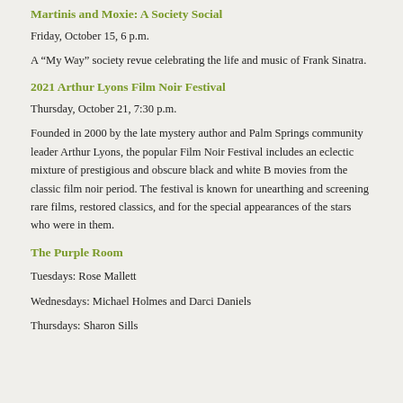Martinis and Moxie: A Society Social
Friday, October 15, 6 p.m.
A “My Way” society revue celebrating the life and music of Frank Sinatra.
2021 Arthur Lyons Film Noir Festival
Thursday, October 21, 7:30 p.m.
Founded in 2000 by the late mystery author and Palm Springs community leader Arthur Lyons, the popular Film Noir Festival includes an eclectic mixture of prestigious and obscure black and white B movies from the classic film noir period. The festival is known for unearthing and screening rare films, restored classics, and for the special appearances of the stars who were in them.
The Purple Room
Tuesdays: Rose Mallett
Wednesdays: Michael Holmes and Darci Daniels
Thursdays: Sharon Sills